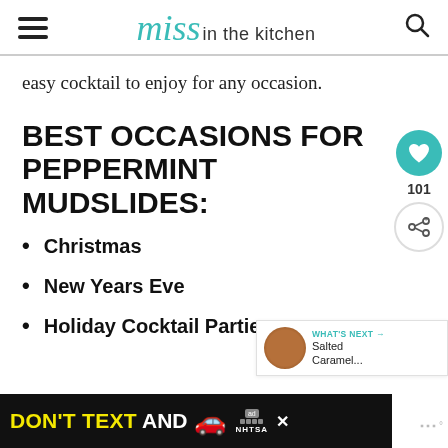Miss in the kitchen
easy cocktail to enjoy for any occasion.
BEST OCCASIONS FOR PEPPERMINT MUDSLIDES:
Christmas
New Years Eve
Holiday Cocktail Parties
[Figure (other): Advertisement banner: DON'T TEXT AND [car emoji] with NHTSA logo]
[Figure (other): What's Next widget showing Salted Caramel... with circular thumbnail and share/heart buttons]